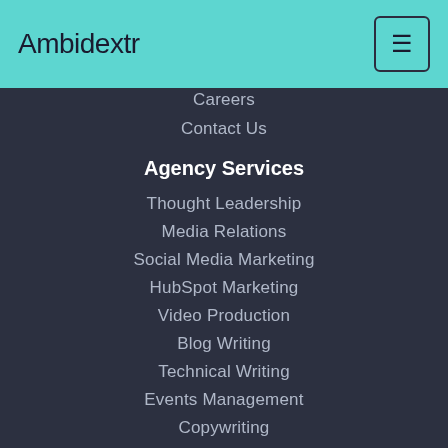Ambidextr
Careers
Contact Us
Agency Services
Thought Leadership
Media Relations
Social Media Marketing
HubSpot Marketing
Video Production
Blog Writing
Technical Writing
Events Management
Copywriting
Crisis Management
Internal Communication